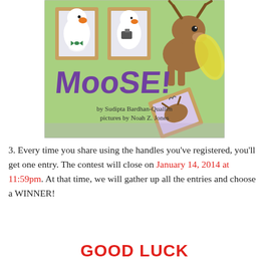[Figure (illustration): Book cover for 'Moose!' by Sudipta Bardhan-Quallen, pictures by Noah Z. Jones. Green background with cartoon duck portraits on the wall, a moose figure on the right, and the word 'Moose!' in large purple letters. At the bottom: 'by Sudipta Bardhan-Quallen / pictures by Noah Z. Jones'.]
3. Every time you share using the handles you've registered, you'll get one entry. The contest will close on January 14, 2014 at 11:59pm. At that time, we will gather up all the entries and choose a WINNER!
GOOD LUCK